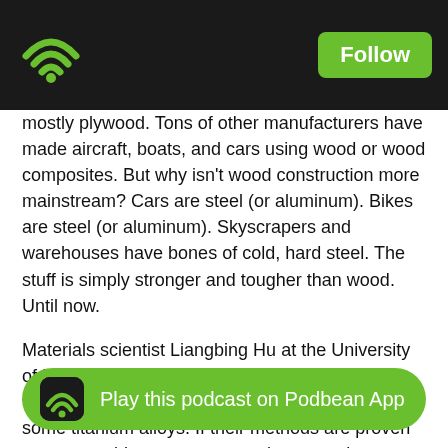Follow
mostly plywood. Tons of other manufacturers have made aircraft, boats, and cars using wood or wood composites. But why isn't wood construction more mainstream? Cars are steel (or aluminum). Bikes are steel (or aluminum). Skyscrapers and warehouses have bones of cold, hard steel. The stuff is simply stronger and tougher than wood. Until now.
Materials scientist Liangbing Hu at the University of Maryland has invented a method of treating wood that makes it stronger than steel, and even some titanium alloys. If their methods are proven out, we could see more cars, planes, and even skyscrapers built out of wood. It could reduce our reliance on energy-intensive steel and aluminum, giving us a low-carbon alternative.
Wait, what's all this about carbon? I'm just going out on a limb here, but it's becoming more and more clear that we need to actively reduce the amount of carbon dioxide in the atmosphere. Growing trees is a great way to do it. If wood can be a good alternative to steel, there's even more incentive to grow more trees. And ... ot going back into t... tting along before all to tell you this about...
Play this podcast on Podbean App